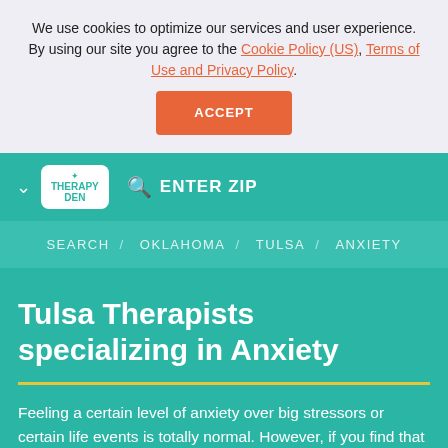We use cookies to optimize our services and user experience. By using our site you agree to the Cookie Policy (US), Terms of Use and Privacy Policy.
ACCEPT
[Figure (logo): Therapy Den logo - white logo on teal background with search icon and ENTER ZIP text]
SEARCH / OKLAHOMA / TULSA / ANXIETY
Tulsa Therapists specializing in Anxiety
Feeling a certain level of anxiety over big stressors or certain life events is totally normal. However, if you find that your fear or worry does not go away and, in fact, gets worse over time,